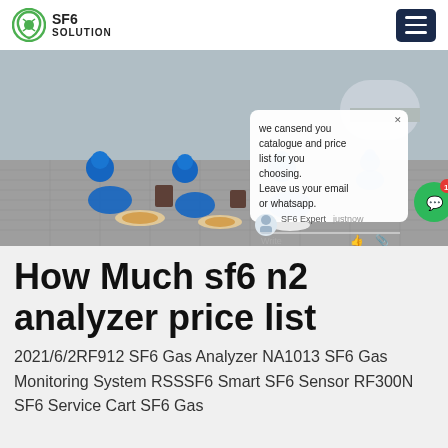SF6 SOLUTION
[Figure (photo): Workers in blue protective suits and helmets working outdoors on industrial equipment at a facility, kneeling on patterned ground near cylindrical containers]
How Much sf6 n2 analyzer price list
2021/6/2RF912 SF6 Gas Analyzer NA1013 SF6 Gas Monitoring System RSSSF6 Smart SF6 Sensor RF300N SF6 Service Cart SF6 Gas